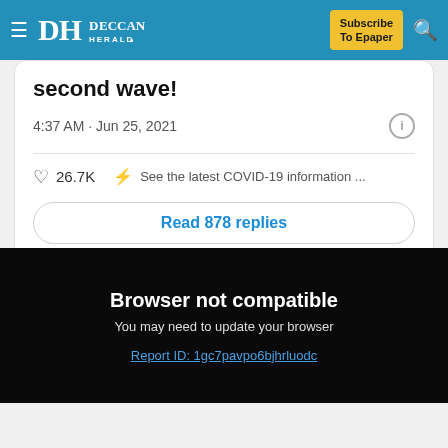DH DECCAN HERALD | Subscribe To Epaper
second wave!
4:37 AM · Jun 25, 2021
26.7K   See the latest COVID-19 information ...
Read 878 replies
Browser not compatible
You may need to update your browser
Report ID: 1gc7pavpo6bjhrluodc